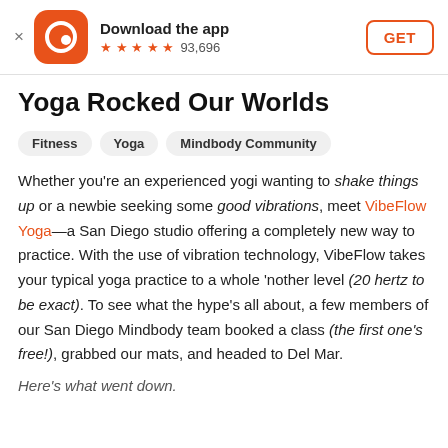Download the app ★★★★★ 93,696 GET
Yoga Rocked Our Worlds
Fitness
Yoga
Mindbody Community
Whether you're an experienced yogi wanting to shake things up or a newbie seeking some good vibrations, meet VibeFlow Yoga—a San Diego studio offering a completely new way to practice. With the use of vibration technology, VibeFlow takes your typical yoga practice to a whole 'nother level (20 hertz to be exact). To see what the hype's all about, a few members of our San Diego Mindbody team booked a class (the first one's free!), grabbed our mats, and headed to Del Mar.
Here's what went down.